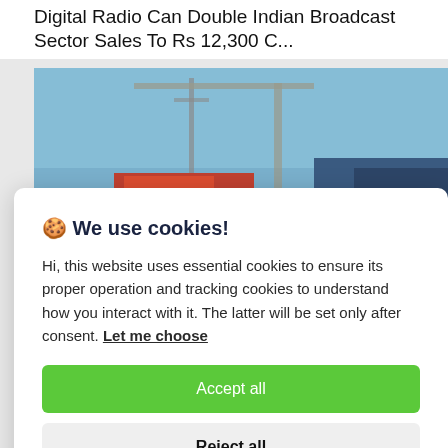Digital Radio Can Double Indian Broadcast Sector Sales To Rs 12,300 C...
[Figure (photo): Industrial/port scene with cranes, shipping containers, and equipment in warm orange/red tones against a blue sky background]
🍪 We use cookies!
Hi, this website uses essential cookies to ensure its proper operation and tracking cookies to understand how you interact with it. The latter will be set only after consent. Let me choose
Accept all
Reject all